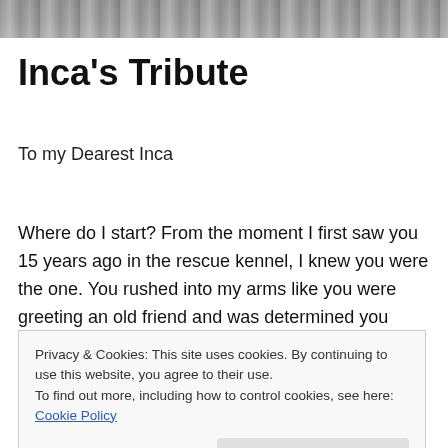[Figure (photo): Top portion of an animal photo, grey/brown tones, cropped at top of page]
Inca's Tribute
To my Dearest Inca
Where do I start? From the moment I first saw you 15 years ago in the rescue kennel, I knew you were the one. You rushed into my arms like you were greeting an old friend and was determined you were coming home with
Privacy & Cookies: This site uses cookies. By continuing to use this website, you agree to their use.
To find out more, including how to control cookies, see here: Cookie Policy
[Figure (photo): Bottom portion of a green outdoor/garden photo, partially visible at bottom of page]